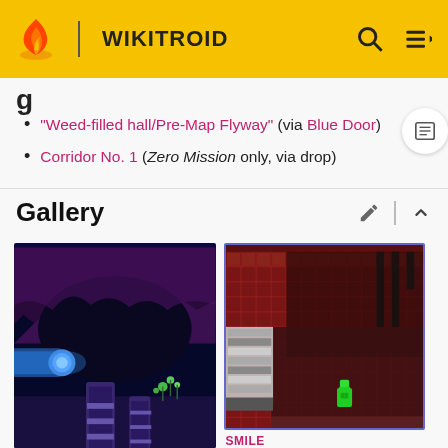WIKITROID
"Weed-filled hall/Pre-Map Flyway" (via Blue Door)
Corridor No. 1 (Zero Mission only, via drop)
Gallery
[Figure (screenshot): Game screenshot from Metroid showing a blue sci-fi corridor with purple rock formations and cylindrical structures]
[Figure (screenshot): Game screenshot showing a map/overhead view with a green character on a red-tiled grid background]
SMILE